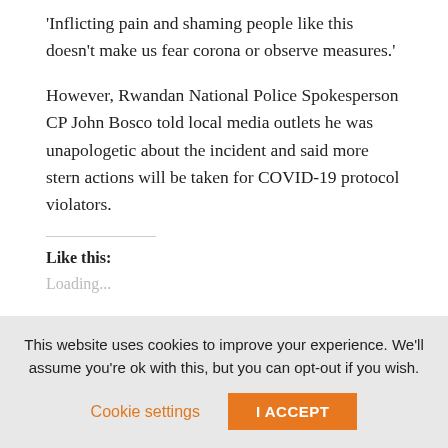'Inflicting pain and shaming people like this doesn't make us fear corona or observe measures.'
However, Rwandan National Police Spokesperson CP John Bosco told local media outlets he was unapologetic about the incident and said more stern actions will be taken for COVID-19 protocol violators.
Like this:
Loading...
This website uses cookies to improve your experience. We'll assume you're ok with this, but you can opt-out if you wish.
Cookie settings
I ACCEPT